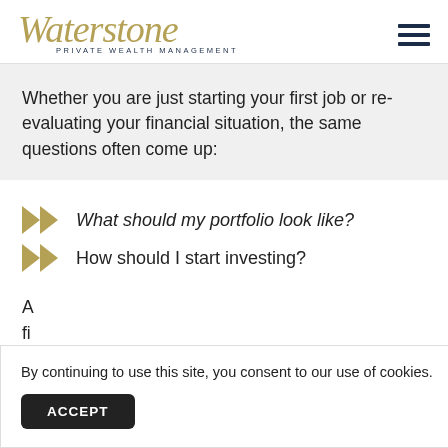Waterstone Private Wealth Management
Whether you are just starting your first job or re-evaluating your financial situation, the same questions often come up:
What should my portfolio look like?
How should I start investing?
A fi lif
By continuing to use this site, you consent to our use of cookies.